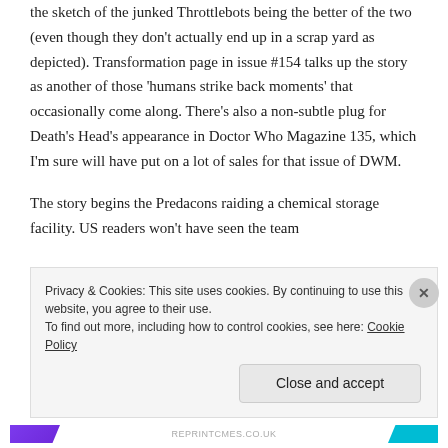the sketch of the junked Throttlebots being the better of the two (even though they don't actually end up in a scrap yard as depicted). Transformation page in issue #154 talks up the story as another of those 'humans strike back moments' that occasionally come along. There's also a non-subtle plug for Death's Head's appearance in Doctor Who Magazine 135, which I'm sure will have put on a lot of sales for that issue of DWM.
The story begins the Predacons raiding a chemical storage facility. US readers won't have seen the team
Privacy & Cookies: This site uses cookies. By continuing to use this website, you agree to their use.
To find out more, including how to control cookies, see here: Cookie Policy
Close and accept